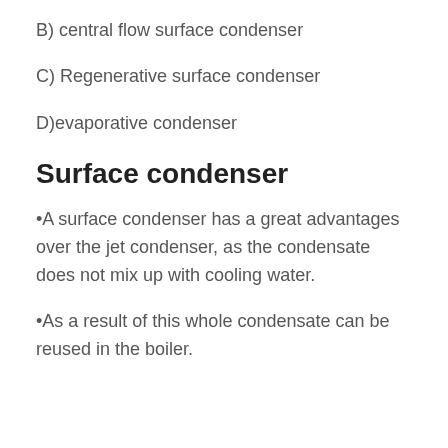B) central flow surface condenser
C) Regenerative surface condenser
D)evaporative condenser
Surface condenser
•A surface condenser has a great advantages over the jet condenser, as the condensate does not mix up with cooling water.
•As a result of this whole condensate can be reused in the boiler.